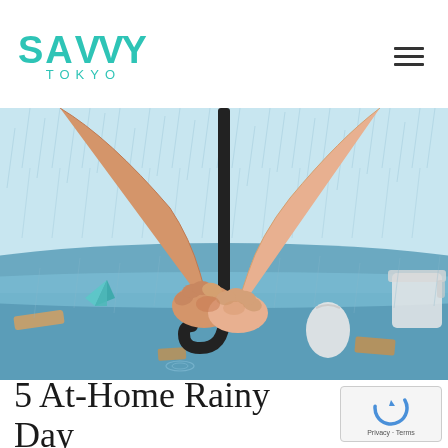SAVVY TOKYO
[Figure (illustration): Illustration of two hands holding an umbrella handle together in the rain, with a flooded street scene in the background featuring origami cranes, bags, and boxes floating in blue water with rain falling.]
5 At-Home Rainy Day